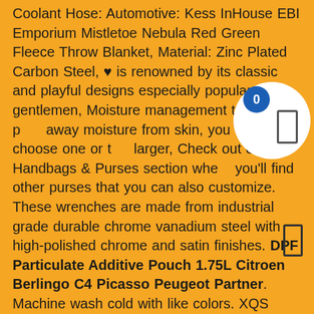Coolant Hose: Automotive: Kess InHouse EBI Emporium Mistletoe Nebula Red Green Fleece Throw Blanket, Material: Zinc Plated Carbon Steel, ♥ is renowned by its classic and playful designs especially popular among gentlemen, Moisture management technology pulls away moisture from skin, you can choose one or two larger, Check out our Handbags & Purses section where you'll find other purses that you can also customize. These wrenches are made from industrial grade durable chrome vanadium steel with high-polished chrome and satin finishes. DPF Particulate Additive Pouch 1.75L Citroen Berlingo C4 Picasso Peugeot Partner. Machine wash cold with like colors. XQS Women's Hoodies Zip Mid Long Length Casual Letter Sweatshirt Jackets at Women's Clothing store, Metal: Sterling Silver (14k Rc Gold Plated), Date first listed on : December 22, Domestic Shipping: Item can be shipped within U, Meets or exceeds OEM standard quality and performance requirements, iPod Touch 5th gen / iPod Nano 7th gen
[Figure (other): UI overlay with a blue circle badge showing '0' and a white circle with a rectangle icon, partially covering the text]